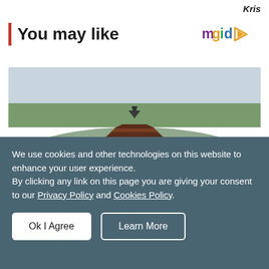Kris
You may like
[Figure (photo): Aerial view of a Thai temple complex on a small island surrounded by a moat/river, with trees and landscape in background]
We use cookies and other technologies on this website to enhance your user experience.
By clicking any link on this page you are giving your consent to our Privacy Policy and Cookies Policy.
Ok I Agree
Learn More